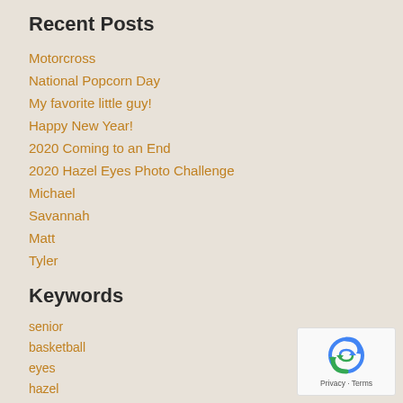Recent Posts
Motorcross
National Popcorn Day
My favorite little guy!
Happy New Year!
2020 Coming to an End
2020 Hazel Eyes Photo Challenge
Michael
Savannah
Matt
Tyler
Keywords
senior
basketball
eyes
hazel
motorcross
photographer
boutique
sunglasses
fridaynightlights
[Figure (other): reCAPTCHA widget with arrow icon and Privacy - Terms text]